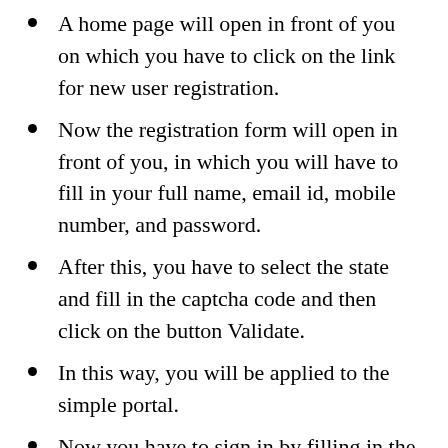A home page will open in front of you on which you have to click on the link for new user registration.
Now the registration form will open in front of you, in which you will have to fill in your full name, email id, mobile number, and password.
After this, you have to select the state and fill in the captcha code and then click on the button Validate.
In this way, you will be applied to the simple portal.
Now you have to sign in by filling in the login ID, password, and captcha code.
After this, you have to click on the link to